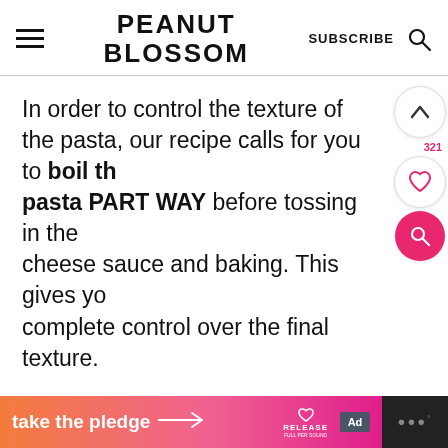PEANUT BLOSSOM — SUBSCRIBE
In order to control the texture of the pasta, our recipe calls for you to boil the pasta PART WAY before tossing in the cheese sauce and baking. This gives you complete control over the final texture.
[Figure (screenshot): Floating UI buttons on right side: chevron up arrow in circle, heart/save button (321 count) in circle, pink search button in circle]
[Figure (screenshot): Bottom banner ad: 'take the pledge' with arrow, Release logo, ad box, dark strip with dots on right]